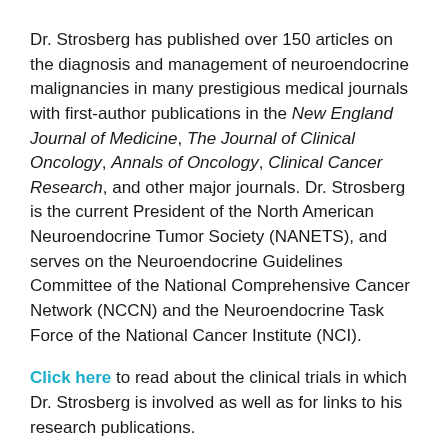Dr. Strosberg has published over 150 articles on the diagnosis and management of neuroendocrine malignancies in many prestigious medical journals with first-author publications in the New England Journal of Medicine, The Journal of Clinical Oncology, Annals of Oncology, Clinical Cancer Research, and other major journals. Dr. Strosberg is the current President of the North American Neuroendocrine Tumor Society (NANETS), and serves on the Neuroendocrine Guidelines Committee of the National Comprehensive Cancer Network (NCCN) and the Neuroendocrine Task Force of the National Cancer Institute (NCI).
Click here to read about the clinical trials in which Dr. Strosberg is involved as well as for links to his research publications.
Click here to learn more about the Neuroendocrine Tumor